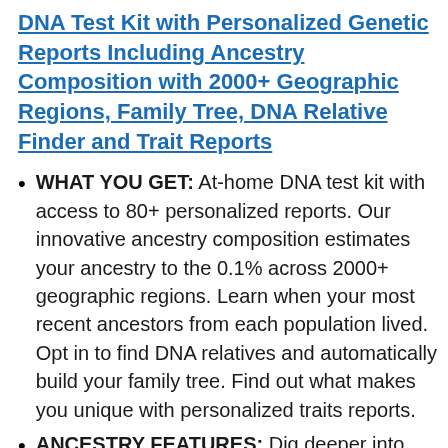DNA Test Kit with Personalized Genetic Reports Including Ancestry Composition with 2000+ Geographic Regions, Family Tree, DNA Relative Finder and Trait Reports
WHAT YOU GET: At-home DNA test kit with access to 80+ personalized reports. Our innovative ancestry composition estimates your ancestry to the 0.1% across 2000+ geographic regions. Learn when your most recent ancestors from each population lived. Opt in to find DNA relatives and automatically build your family tree. Find out what makes you unique with personalized traits reports.
ANCESTRY FEATURES: Dig deeper into your ancestry with the most comprehensive ancestry breakdown. Go back in time with the Ancestry Timeline to gain a clearer...